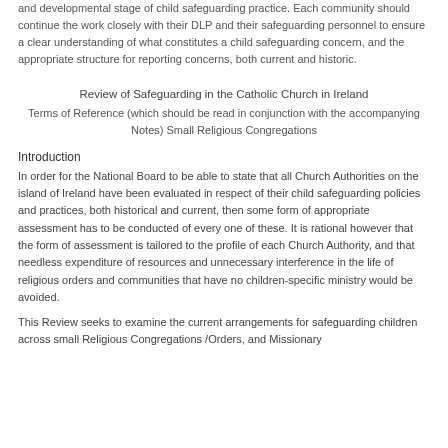and developmental stage of child safeguarding practice. Each community should continue the work closely with their DLP and their safeguarding personnel to ensure a clear understanding of what constitutes a child safeguarding concern, and the appropriate structure for reporting concerns, both current and historic.
Review of Safeguarding in the Catholic Church in Ireland
Terms of Reference (which should be read in conjunction with the accompanying Notes) Small Religious Congregations
Introduction
In order for the National Board to be able to state that all Church Authorities on the island of Ireland have been evaluated in respect of their child safeguarding policies and practices, both historical and current, then some form of appropriate assessment has to be conducted of every one of these. It is rational however that the form of assessment is tailored to the profile of each Church Authority, and that needless expenditure of resources and unnecessary interference in the life of religious orders and communities that have no children-specific ministry would be avoided.
This Review seeks to examine the current arrangements for safeguarding children across small Religious Congregations /Orders, and Missionary